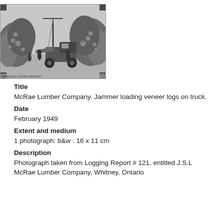[Figure (photo): Black and white photograph showing men using a jammer to load veneer logs onto a truck, with large piles of logs in the background.]
Title
McRae Lumber Company. Jammer loading veneer logs on truck.
Date
February 1949
Extent and medium
1 photograph: b&w : 16 x 11 cm
Description
Photograph taken from Logging Report # 121, entitled J.S.L McRae Lumber Company, Whitney, Ontario